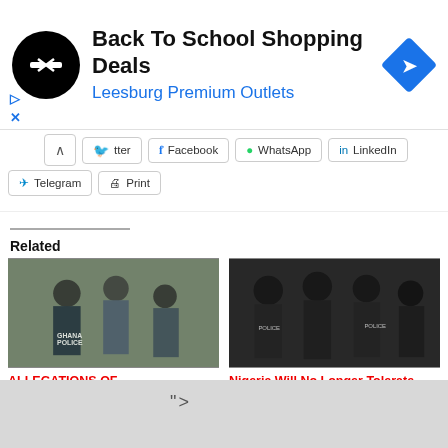[Figure (other): Advertisement banner: Back To School Shopping Deals - Leesburg Premium Outlets, with circular black logo with arrows icon and blue diamond navigation icon]
[Figure (other): Social sharing buttons row: Twitter (partially visible), Facebook, WhatsApp, LinkedIn, and second row with Telegram and Print buttons, with expand chevron]
Related
[Figure (photo): Ghana Police officers in uniform, back view showing GHANA POLICE text on jacket]
ALLEGATIONS OF MALTREATMENT: SEE FULL RESPONSE FROM
[Figure (photo): Nigerian police officers in full riot gear/tactical gear standing together]
Nigeria Will No Longer Tolerate Harassment of Its Citizens in Ghana – FG
">